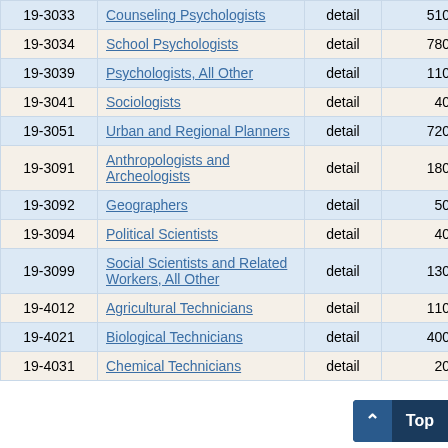| Code | Occupation | Level | Col4 | Col5 |
| --- | --- | --- | --- | --- |
| 19-3033 | Counseling Psychologists | detail | 510 | 35 |
| 19-3034 | School Psychologists | detail | 780 | 7 |
| 19-3039 | Psychologists, All Other | detail | 110 | 0 |
| 19-3041 | Sociologists | detail | 40 | 11 |
| 19-3051 | Urban and Regional Planners | detail | 720 | 4 |
| 19-3091 | Anthropologists and Archeologists | detail | 180 | 29 |
| 19-3092 | Geographers | detail | 50 | 21 |
| 19-3094 | Political Scientists | detail | 40 | 20 |
| 19-3099 | Social Scientists and Related Workers, All Other | detail | 130 | 24 |
| 19-4012 | Agricultural Technicians | detail | 110 | 43 |
| 19-4021 | Biological Technicians | detail | 400 | 16 |
| 19-4031 | Chemical Technicians | detail | 20 |  |